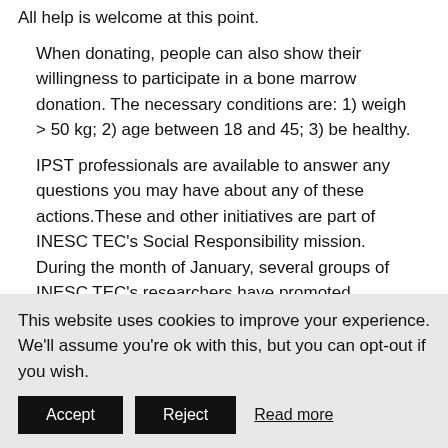All help is welcome at this point.
When donating, people can also show their willingness to participate in a bone marrow donation. The necessary conditions are: 1) weigh > 50 kg; 2) age between 18 and 45; 3) be healthy.
IPST professionals are available to answer any questions you may have about any of these actions.These and other initiatives are part of INESC TEC's Social Responsibility mission. During the month of January, several groups of INESC TEC's researchers have promoted solidarity campaigns to support other institutions.
Researchers from INESC TEC's High-Assurance Software
This website uses cookies to improve your experience. We'll assume you're ok with this, but you can opt-out if you wish.
Accept
Reject
Read more